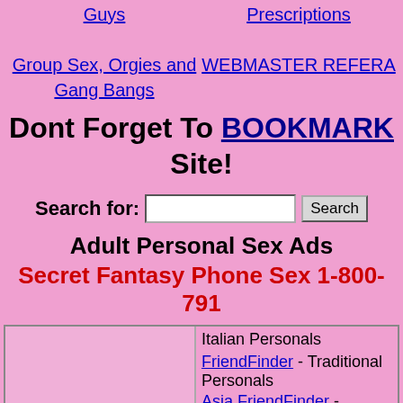Guys
Group Sex, Orgies and Gang Bangs
Prescriptions
WEBMASTER REFERA
Dont Forget To BOOKMARK Site!
Search for: [input] Search
Adult Personal Sex Ads
Secret Fantasy Phone Sex 1-800-791
AdultLoveLine
WildHotDates
Italian Personals
FriendFinder - Traditional Personals
Asia FriendFinder - Chinese Person
Filipino FriendFinder - Filipino Pers
OutPersonals - Gay Sex Personals
Gay FriendFinder - Gay Dating Per